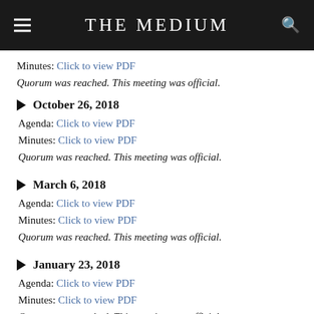THE MEDIUM
Minutes: Click to view PDF
Quorum was reached. This meeting was official.
October 26, 2018
Agenda: Click to view PDF
Minutes: Click to view PDF
Quorum was reached. This meeting was official.
March 6, 2018
Agenda: Click to view PDF
Minutes: Click to view PDF
Quorum was reached. This meeting was official.
January 23, 2018
Agenda: Click to view PDF
Minutes: Click to view PDF
Quorum was reached. This meeting was official.